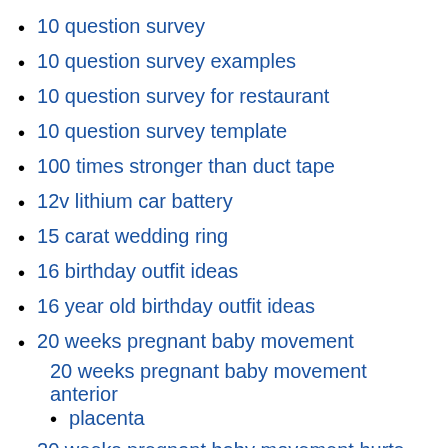10 question survey
10 question survey examples
10 question survey for restaurant
10 question survey template
100 times stronger than duct tape
12v lithium car battery
15 carat wedding ring
16 birthday outfit ideas
16 year old birthday outfit ideas
20 weeks pregnant baby movement
20 weeks pregnant baby movement anterior placenta
20 weeks pregnant baby movement hurts
20 weeks pregnant baby movement slowed
20 weeks pregnant baby movement stopped